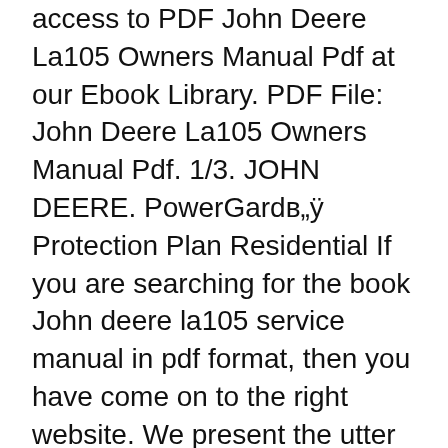access to PDF John Deere La105 Owners Manual Pdf at our Ebook Library. PDF File: John Deere La105 Owners Manual Pdf. 1/3. JOHN DEERE. PowerGardв„ÿ Protection Plan Residential If you are searching for the book John deere la105 service manual in pdf format, then you have come on to the right website. We present the utter option of this ebook in txt, ePub, DjVu, PDF, doc forms.
14.38MB JOHN DEERE OWNERS MANUAL LA105 As Pdf, DEERE LA105 OWNERS JOHN MANUAL As Docx, JOHN MANUAL LA105 OWNERS DEERE As Pptx JOHN DEERE OWNERS MANUAL LA105 How easy reading concept can improve to be an effective person? JOHN DEERE OWNERS MANUAL LA105 review is a very simple task. Yet,